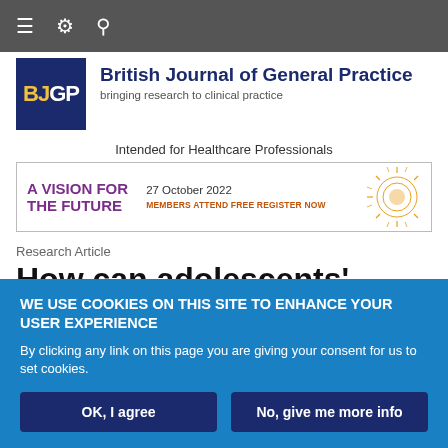≡ ⚙ 🔍
[Figure (logo): BJGP logo — dark blue square with 'BJGP' text in white/yellow, followed by 'British Journal of General Practice' in bold dark blue and subtitle 'bringing research to clinical practice']
Intended for Healthcare Professionals
[Figure (infographic): Advertisement banner: 'A VISION FOR THE FUTURE' in purple, '27 October 2022' in black, 'MEMBERS ATTEND FREE REGISTER NOW' in orange, with a sunburst/starburst graphic on the right]
Research Article
How can adolescents' health
WE USE COOKIES ON THIS SITE TO ENHANCE YOUR USER EXPERIENCE

By clicking any link on this page you are giving your consent for us to set cookies.